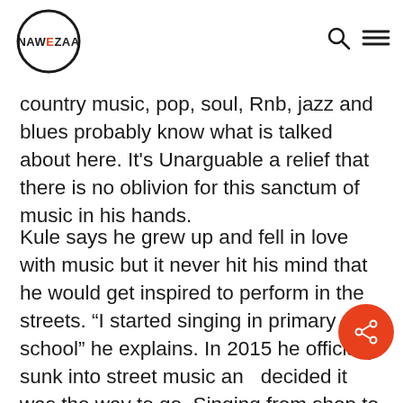NAWEZAA (logo) with search and menu icons
country music, pop, soul, Rnb, jazz and blues probably know what is talked about here. It’s Unarguable a relief that there is no oblivion for this sanctum of music in his hands.
Kule says he grew up and fell in love with music but it never hit his mind that he would get inspired to perform in the streets. “I started singing in primary school” he explains. In 2015 he officially sunk into street music and decided it was the way to go. Singing from shop to shop wasn’t efficient